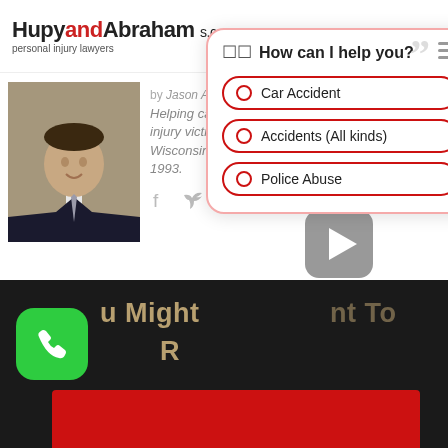HupyandAbraham s.c. personal injury lawyers
[Figure (screenshot): Chat widget overlay with 'How can I help you?' and options: Car Accident, Accidents (All kinds), Police Abuse]
[Figure (photo): Author photo - man in suit smiling]
by Jason Abraham
Helping car accident and personal injury victims throughout Wisconsin, Illinois and Iowa since 1993.
[Figure (other): Social media icons: Facebook, Twitter, LinkedIn, YouTube]
[Figure (other): Play button rounded square icon]
u Might
R
nt To
[Figure (photo): Green phone call button icon]
[Figure (other): Red bar at bottom]